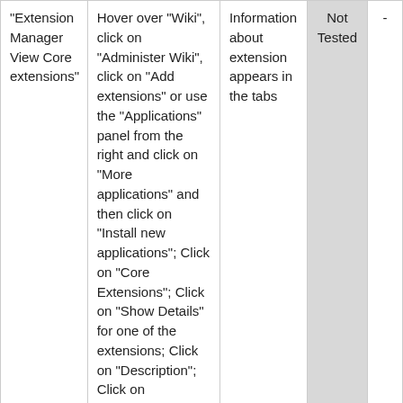| "Extension Manager View Core extensions" | Hover over "Wiki", click on "Administer Wiki", click on "Add extensions" or use the "Applications" panel from the right and click on "More applications" and then click on "Install new applications"; Click on "Core Extensions"; Click on "Show Details" for one of the extensions; Click on "Description"; Click on "Dependencies" | Information about extension appears in the tabs | Not Tested | - |